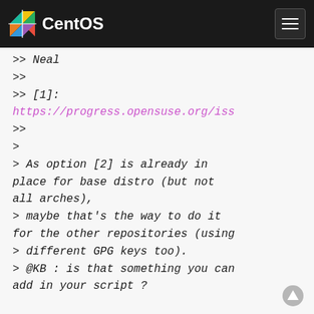CentOS
>> Neal
>>
>> [1]: https://progress.opensuse.org/iss
>>
>
> As option [2] is already in place for base distro (but not all arches),
> maybe that's the way to do it for the other repositories (using
> different GPG keys too).
> @KB : is that something you can add in your script ?